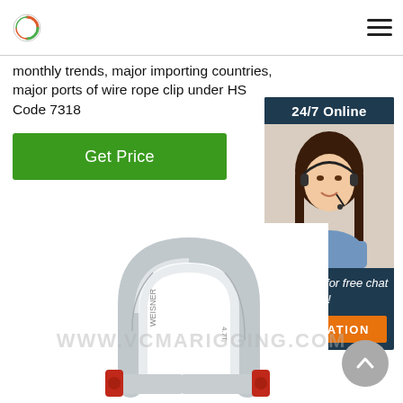Logo and navigation header
monthly trends, major importing countries, major ports of wire rope clip under HS Code 7318
[Figure (other): Green 'Get Price' button]
[Figure (other): 24/7 Online chat widget with photo of woman wearing headset, 'Click here for free chat!' text, and orange QUOTATION button]
[Figure (photo): Photo of a galvanized steel shackle with red pin, with watermark WWW.VCMARIGGING.COM]
[Figure (other): Back to top arrow button (grey circle with upward chevron)]